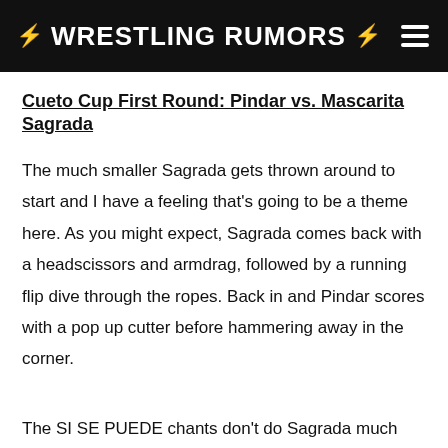⚡ WRESTLING RUMORS ⚡
Cueto Cup First Round: Pindar vs. Mascarita Sagrada
The much smaller Sagrada gets thrown around to start and I have a feeling that's going to be a theme here. As you might expect, Sagrada comes back with a headscissors and armdrag, followed by a running flip dive through the ropes. Back in and Pindar scores with a pop up cutter before hammering away in the corner.
The SI SE PUEDE chants don't do Sagrada much good but the really spinny headscissors does. Kobra Moon's interference doesn't do much good and Mascarita's moonsault gets two. Pindar has had it with him